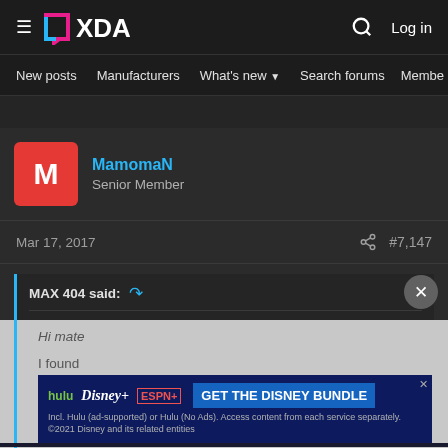XDA ≡ | Log in | Search
New posts  Manufacturers  What's new  Search forums  Members  >
MamomaN
Senior Member
Mar 17, 2017  #7,147
MAX 404 said:
Hi mate
[Figure (screenshot): Hulu Disney+ ESPN+ Get The Disney Bundle advertisement banner. Incl. Hulu (ad-supported) or Hulu (No Ads). Access content from each service separately. ©2021 Disney and its related entities]
Thanks bro, it's fine now, working fine with the old version of google play...